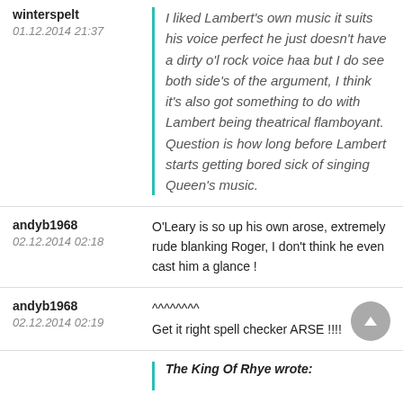winterspelt
01.12.2014 21:37
I liked Lambert's own music it suits his voice perfect he just doesn't have a dirty o'l rock voice haa but I do see both side's of the argument, I think it's also got something to do with Lambert being theatrical flamboyant. Question is how long before Lambert starts getting bored sick of singing Queen's music.
andyb1968
02.12.2014 02:18
O'Leary is so up his own arose, extremely rude blanking Roger, I don't think he even cast him a glance !
andyb1968
02.12.2014 02:19
^^^^^^^^
Get it right spell checker ARSE !!!!
The King Of Rhye wrote: